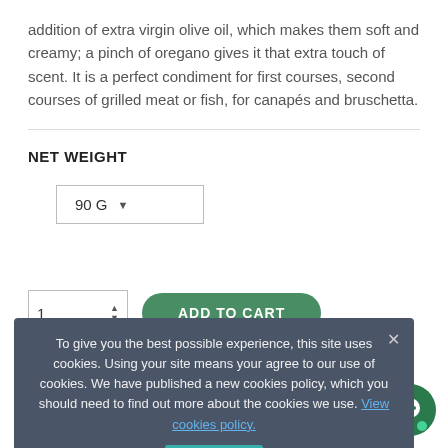addition of extra virgin olive oil, which makes them soft and creamy; a pinch of oregano gives it that extra touch of scent. It is a perfect condiment for first courses, second courses of grilled meat or fish, for canapés and bruschetta.
NET WEIGHT
90 G
1  ADD TO CART
✓ Available
🔒 100% secure payments
To give you the best possible experience, this site uses cookies. Using your site means your agree to our use of cookies. We have published a new cookies policy, which you should need to find out more about the cookies we use. View cookies policy.
Accept